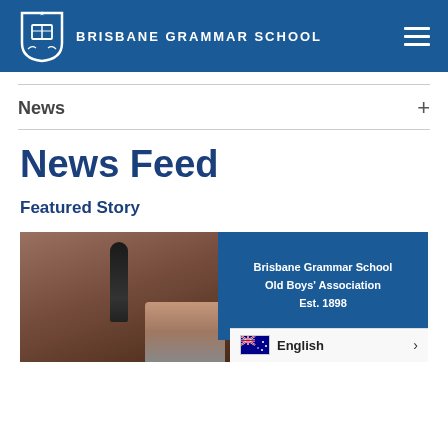BRISBANE GRAMMAR SCHOOL
News
News Feed
Featured Story
[Figure (photo): Photo of a person at a Brisbane Grammar School Old Boys' Association Est. 1898 event, with a language selector showing English with Australian flag]
Brisbane Grammar School Old Boys' Association Est. 1898
English